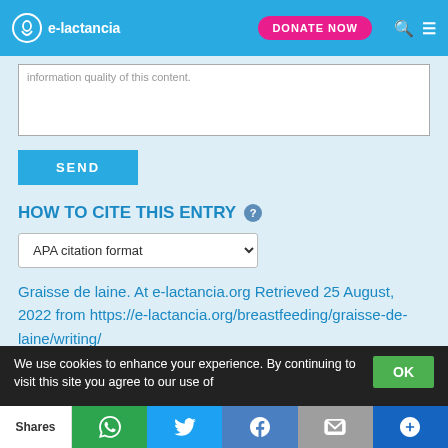e-lactancia | DONATE NOW
information quality of this content.
SEND
HOW TO CITE THIS ENTRY
APA citation format
Graisse de laine. At e-lactancia.org Retrieved 25 August, 2022 from https://e-lactancia.org/breastfeeding/graisse-de-laine/writing/
We use cookies to enhance your experience. By continuing to visit this site you agree to our use of
OK
Shares